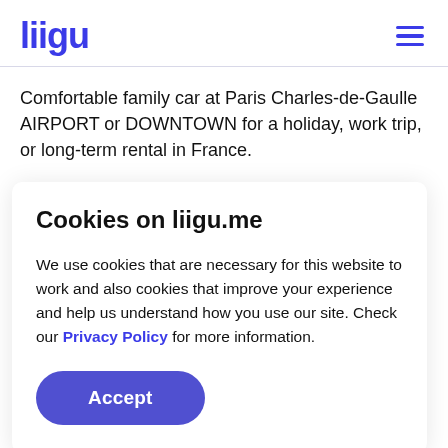liigu
Comfortable family car at Paris Charles-de-Gaulle AIRPORT or DOWNTOWN for a holiday, work trip, or long-term rental in France.
Cookies on liigu.me
We use cookies that are necessary for this website to work and also cookies that improve your experience and help us understand how you use our site. Check our Privacy Policy for more information.
Accept